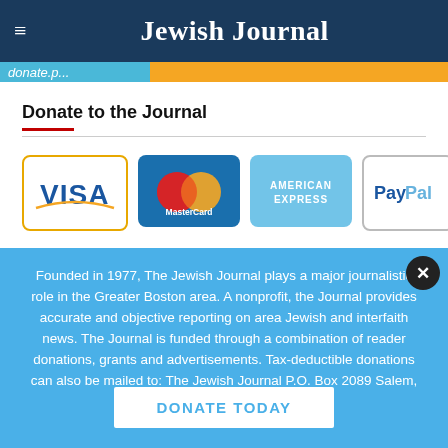Jewish Journal
Donate to the Journal
[Figure (logo): Payment method logos: Visa, MasterCard, American Express, PayPal]
Founded in 1977, The Jewish Journal plays a major journalistic role in the Greater Boston area. A nonprofit, the Journal provides accurate and objective reporting on area Jewish and interfaith news. The Journal is funded through a combination of reader donations, grants and advertisements. Tax-deductible donations can also be mailed to: The Jewish Journal P.O. Box 2089 Salem, MA. 01970
DONATE TODAY